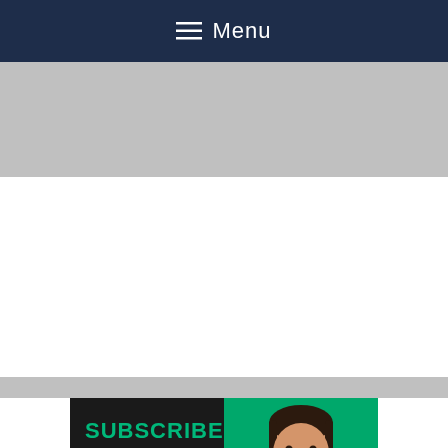Menu
[Figure (screenshot): Gray advertisement banner placeholder at top]
[Figure (illustration): YouTube channel subscribe thumbnail: left half black background with green SUBSCRIBE text, 'New Video Every Day' subtitle, and Subscribe button with YouTube icon; right half green background with a man in white t-shirt]